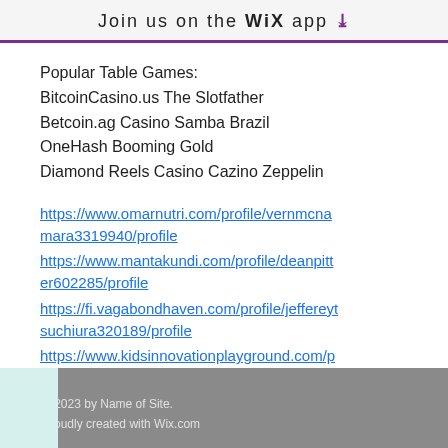Join us on the WiX app ↓
Popular Table Games:
BitcoinCasino.us The Slotfather
Betcoin.ag Casino Samba Brazil
OneHash Booming Gold
Diamond Reels Casino Cazino Zeppelin
https://www.omarnutri.com/profile/vernmcnamara3319940/profile https://www.mantakundi.com/profile/deanpitter602285/profile https://fi.vagabondhaven.com/profile/jeffereytsuchiura320189/profile https://www.kidsinnovationplayground.com/profile/cesarmacanas13967406/profile
© 2023 by Name of Site. Proudly created with Wix.com